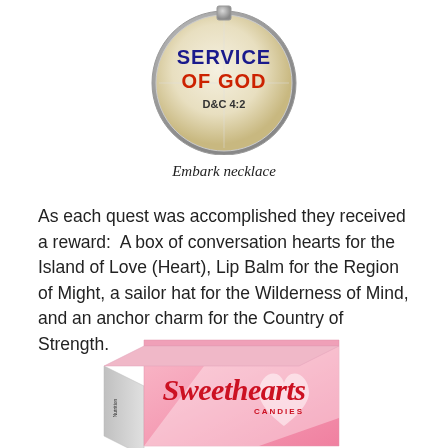[Figure (photo): A circular medallion/necklace pendant showing text 'SERVICE OF GOD D&C 4:2' in bold colorful letters on a light background with a metallic silver rim]
Embark necklace
As each quest was accomplished they received a reward: A box of conversation hearts for the Island of Love (Heart), Lip Balm for the Region of Might, a sailor hat for the Wilderness of Mind, and an anchor charm for the Country of Strength.
[Figure (photo): A pink box of Sweethearts candies with the Sweethearts logo in red script lettering, showing 'CANDIES' underneath, with pink and white heart designs on the box]